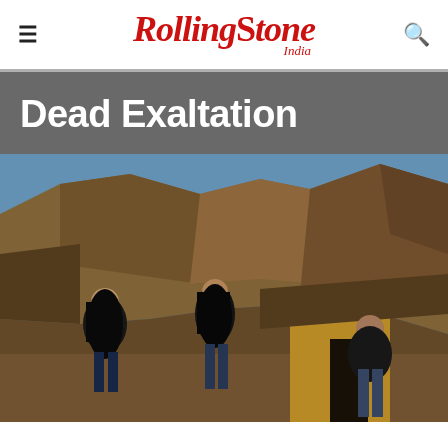Rolling Stone India
Dead Exaltation
[Figure (photo): Three band members standing in front of rocky terrain and a yellow stone doorway/entrance under a blue sky. The members are dressed in dark clothing — two on the left side with long hair and one on the right wearing a leather jacket.]